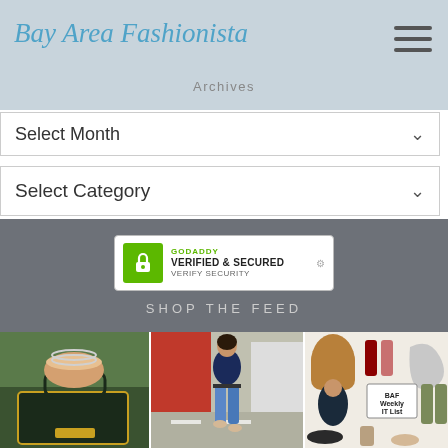Bay Area Fashionista — Archives
Select Month
Select Category
[Figure (logo): GoDaddy Verified & Secured badge]
SHOP THE FEED
[Figure (photo): Close-up of a woman's hand holding a dark crocodile-print handbag with gold buckle, bracelets visible]
[Figure (photo): Woman in navy top and jeans walking on sidewalk near red storefront]
[Figure (photo): Collage of fashion items: brown bag, nail polishes, grey bag, dark sweater model, BAF Weekly IT List label, olive pants, mules, ankle boots]
[Figure (photo): Woman in white top and jeans standing outdoors]
[Figure (photo): Close-up of pink/blush sneakers on light background]
[Figure (photo): Black structured handbag on turquoise background with teal chevron icon]